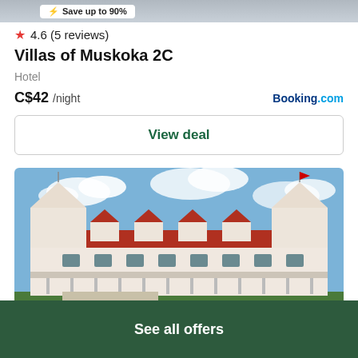[Figure (screenshot): Top partial image bar with Save up to 90% badge]
★ 4.6 (5 reviews)
Villas of Muskoka 2C
Hotel
C$42 /night   Booking.com
View deal
[Figure (photo): Exterior photo of a large white hotel building with red roof and multiple dormer windows, under a blue sky with clouds]
See all offers